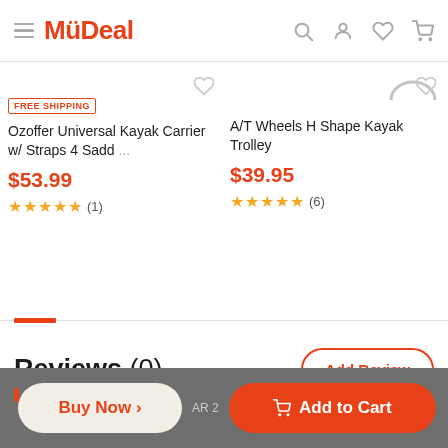MyDeal
FREE SHIPPING
Ozoffer Universal Kayak Carrier w/ Straps 4 Sadd ...
$53.99
★★★★★ (1)
A/T Wheels H Shape Kayak Trolley
$39.95
★★★★★ (6)
Reviews (0)
Add Review
Buy Now >
Add to Cart